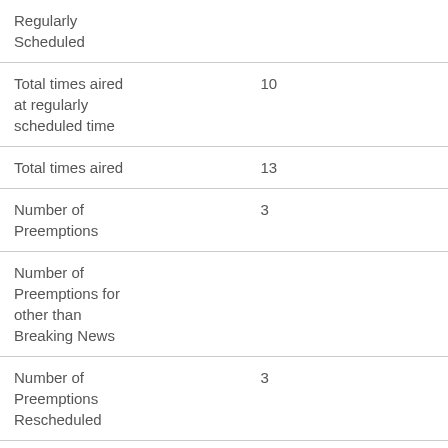| Regularly Scheduled |  |
| Total times aired at regularly scheduled time | 10 |
| Total times aired | 13 |
| Number of Preemptions | 3 |
| Number of Preemptions for other than Breaking News |  |
| Number of Preemptions Rescheduled | 3 |
| Length of Program | 30 mins |